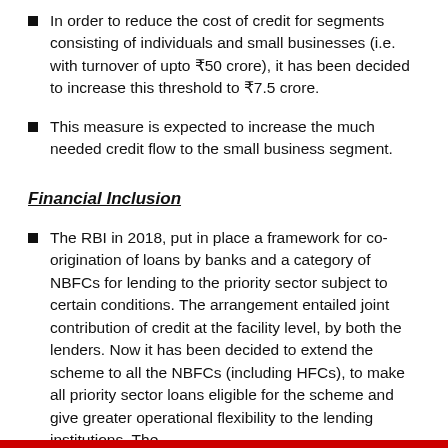In order to reduce the cost of credit for segments consisting of individuals and small businesses (i.e. with turnover of upto ₹50 crore), it has been decided to increase this threshold to ₹7.5 crore.
This measure is expected to increase the much needed credit flow to the small business segment.
Financial Inclusion
The RBI in 2018, put in place a framework for co-origination of loans by banks and a category of NBFCs for lending to the priority sector subject to certain conditions. The arrangement entailed joint contribution of credit at the facility level, by both the lenders. Now it has been decided to extend the scheme to all the NBFCs (including HFCs), to make all priority sector loans eligible for the scheme and give greater operational flexibility to the lending institutions. The